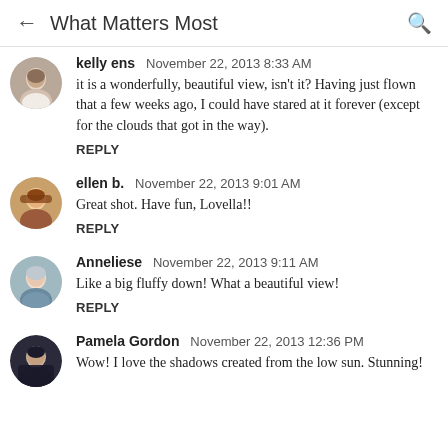← What Matters Most 🔍
kelly ens   November 22, 2013 8:33 AM

it is a wonderfully, beautiful view, isn't it? Having just flown that a few weeks ago, I could have stared at it forever (except for the clouds that got in the way).

REPLY
ellen b.   November 22, 2013 9:01 AM

Great shot. Have fun, Lovella!!

REPLY
Anneliese   November 22, 2013 9:11 AM

Like a big fluffy down! What a beautiful view!

REPLY
Pamela Gordon   November 22, 2013 12:36 PM

Wow! I love the shadows created from the low sun. Stunning!